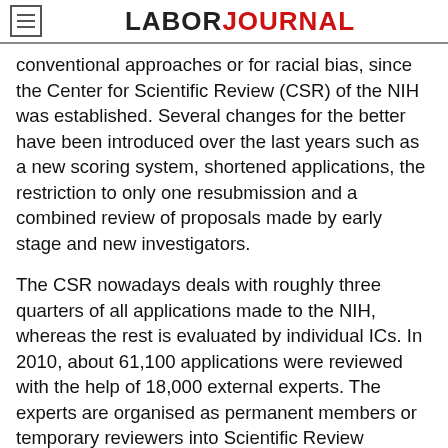LABORJOURNAL
conventional approaches or for racial bias, since the Center for Scientific Review (CSR) of the NIH was established. Several changes for the better have been introduced over the last years such as a new scoring system, shortened applications, the restriction to only one resubmission and a combined review of proposals made by early stage and new investigators.
The CSR nowadays deals with roughly three quarters of all applications made to the NIH, whereas the rest is evaluated by individual ICs. In 2010, about 61,100 applications were reviewed with the help of 18,000 external experts. The experts are organised as permanent members or temporary reviewers into Scientific Review Groups, which are far better known as study sections. Each study section has 20 or more permanent members and meets two or three times a year in person or virtually to discuss about 50 to 120 applications per meeting. Special study sections for evaluating fellowships and small business applications do exist. A video of a study section meeting is accessible via http://public.csr.nih.gov